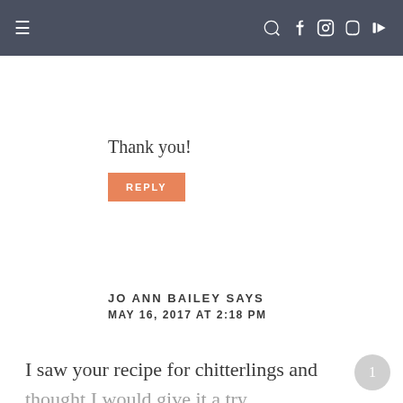Navigation bar with hamburger menu and social icons
Thank you!
REPLY
JO ANN BAILEY SAYS
MAY 16, 2017 AT 2:18 PM
I saw your recipe for chitterlings and thought I would give it a try.